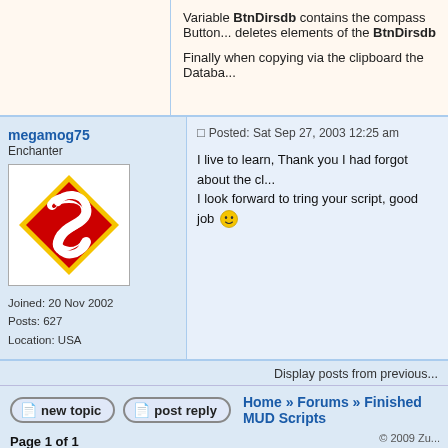Variable BtnDirsdb contains the compass Button... deletes elements of the BtnDirsdb
Finally when copying via the clipboard the Databa...
megamog75
Enchanter
Joined: 20 Nov 2002
Posts: 627
Location: USA
Posted: Sat Sep 27, 2003 12:25 am
I live to learn, Thank you I had forgot about the cl... I look forward to tring your script, good job
Display posts from previous...
Home » Forums » Finished MUD Scripts
Page 1 of 1
© 2009 Zu...